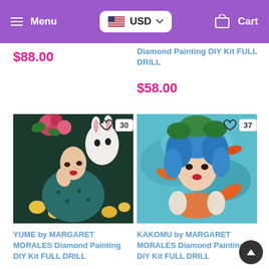Menu  USD  Cart
$88.00
Diamond Painting DIY Kit FULL DRILL
$58.00
[Figure (photo): Diamond painting product image: woman with white rabbit mask and flowers (YUME by Margaret Morales), with heart icon and count 30]
YUME by MARGARET MORALES Diamond Painting DIY Kit FULL DRILL
$88.00
[Figure (photo): Diamond painting product image: woman with blue hair surrounded by koi fish (KAKOMU by Margaret Morales), with heart icon and count 37]
KAKOMU by MARGARET MORALES Diamond Painting DIY Kit FULL DRILL
$88.00